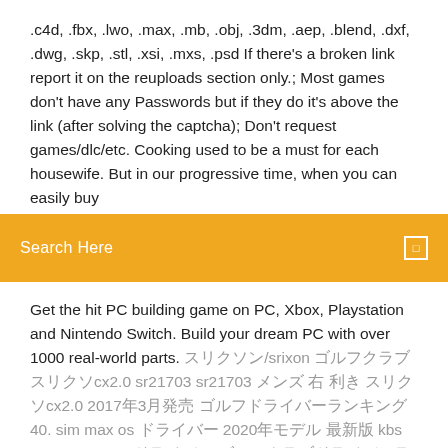.c4d, .fbx, .lwo, .max, .mb, .obj, .3dm, .aep, .blend, .dxf, .dwg, .skp, .stl, .xsi, .mxs, .psd If there's a broken link report it on the reuploads section only.; Most games don't have any Passwords but if they do it's above the link (after solving the captcha); Don't request games/dlc/etc. Cooking used to be a must for each housewife. But in our progressive time, when you can easily buy
Search Here
Get the hit PC building game on PC, Xbox, Playstation and Nintendo Switch. Build your dream PC with over 1000 real-world parts. スリクソン/srixon ゴルフクラブ スリクソcx2.0 sr21703 sr21703 メンズ 右 利き スリクソcx2.0 2017年3月発売 ゴルフドライバーランキング40. sim max os ドライバー 2020年モデル 最新版 kbs max85 jp aw s ドライバー ゴルフクラブドライバーランキング
2018/10/07 Construction Sim 2017 for PC-Windows 7,8,10 and Mac APK 1.3.1 Free Simulation Games for Android - Do you like heavy Construction Simulator? Try the latest construction